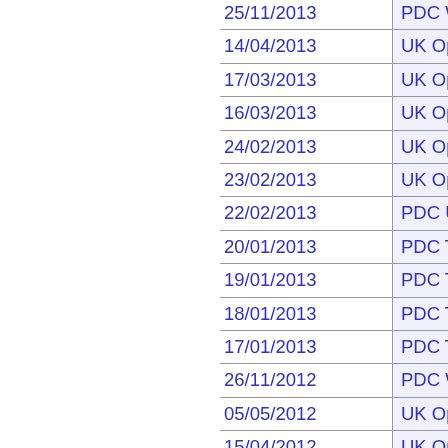| Date | Event |
| --- | --- |
| 25/11/2013 | PDC World Championship Q... |
| 14/04/2013 | UK Open Qualifier 6 |
| 17/03/2013 | UK Open Qualifier 4 |
| 16/03/2013 | UK Open Qualifier 3 |
| 24/02/2013 | UK Open Qualifier 2 |
| 23/02/2013 | UK Open Qualifier 1 |
| 22/02/2013 | PDC UK Masters UK Quali... |
| 20/01/2013 | PDC Tour Card Qualifying S... |
| 19/01/2013 | PDC Tour Card Qualifying S... |
| 18/01/2013 | PDC Tour Card Qualifying S... |
| 17/01/2013 | PDC Tour Card Qualifying S... |
| 26/11/2012 | PDC World Championship Q... |
| 05/05/2012 | UK Open Qualifier 7 |
| 15/04/2012 | UK Open Qualifier 6 |
| 14/04/2012 | UK Open Qualifier 5 |
| 25/03/2012 | UK Open Qualifier 4 |
| 24/03/2012 | UK Open Qualifier 3 |
| 12/02/2012 | UK Open Qualifier 2 |
| 11/02/2012 | UK Open Qualifier 1 |
| 29/01/2012 | PDPA Players Championshi... |
| 28/01/2012 | PDPA Players Championshi... |
| 22/01/2012 | PDC Tour Card Qualifying S... |